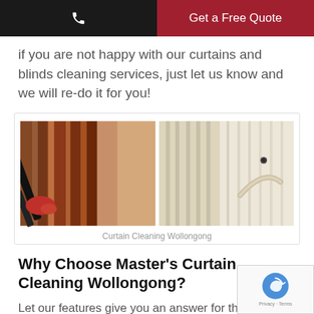Get a Free Quote
if you are not happy with our curtains and blinds cleaning services, just let us know and we will re-do it for you!
[Figure (photo): Two photos side by side: left shows a person vacuuming dark red/brown curtains with a black vacuum attachment; right shows white/cream lace curtains tied back with a decorative holder.]
Curtain Cleaning Wollongong
Why Choose Master's Curtain Cleaning Wollongong?
Let our features give you an answer for this